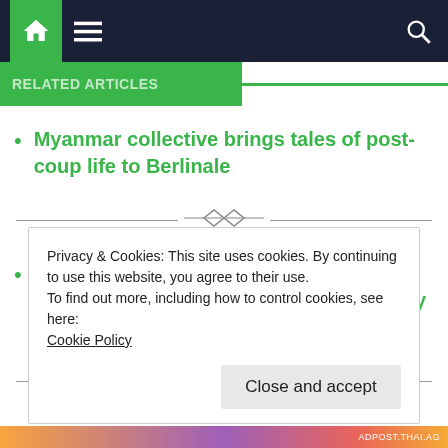Navigation bar with home, menu and search icons
Myanmar collective brings tales of post-coup life to Berlinale
[Figure (illustration): Decorative ornamental divider with diamond shapes and horizontal lines]
West warns of ‘dangerous moment’ in Ukraine standoff as Russia holds military drills
[Figure (illustration): Decorative ornamental divider with diamond shapes and horizontal lines]
Privacy & Cookies: This site uses cookies. By continuing to use this website, you agree to their use.
To find out more, including how to control cookies, see here: Cookie Policy
Close and accept